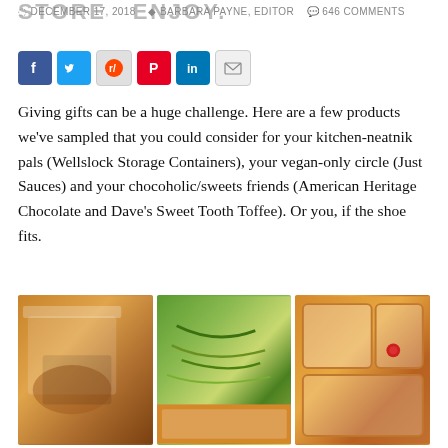STORE ENJOY.
DECEMBER 17, 2018   BARBARA PAYNE, EDITOR   646 COMMENTS
[Figure (infographic): Social media sharing buttons: Facebook, Twitter, Reddit, Pinterest, LinkedIn, Email]
Giving gifts can be a huge challenge. Here are a few products we've sampled that you could consider for your kitchen-neatnik pals (Wellslock Storage Containers), your vegan-only circle (Just Sauces) and your chocoholic/sweets friends (American Heritage Chocolate and Dave's Sweet Tooth Toffee). Or you, if the shoe fits.
[Figure (photo): Three photos of food storage containers: left shows an amber/clear container with food, center shows a container with green zucchini noodles and an orange-rimmed container, right shows orange-rimmed square storage containers stacked.]